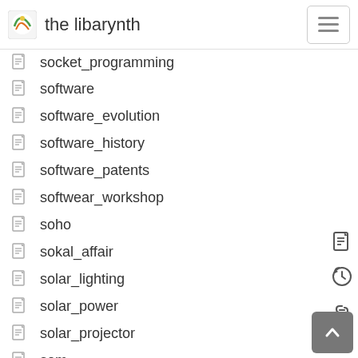the libarynth
socket_programming
software
software_evolution
software_history
software_patents
softwear_workshop
soho
sokal_affair
solar_lighting
solar_power
solar_projector
som
somali_pirates
something_else
sonification
sonny_bonno
sonocytology
soul_midwife